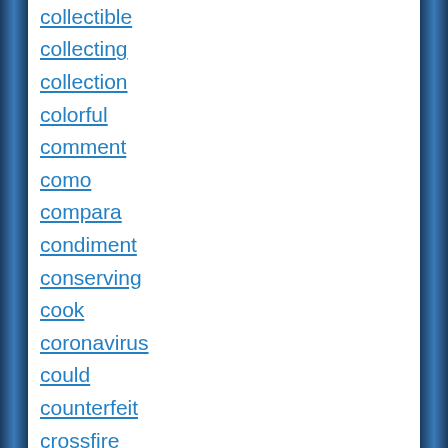collectible
collecting
collection
colorful
comment
como
compara
condiment
conserving
cook
coronavirus
could
counterfeit
crossfire